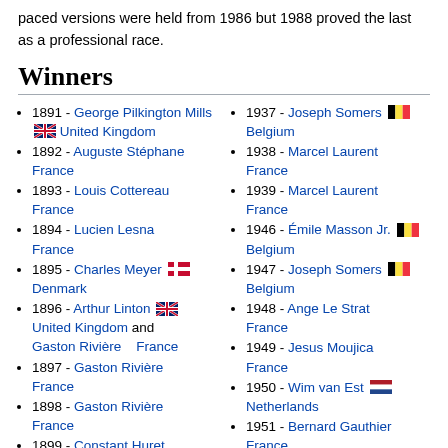paced versions were held from 1986 but 1988 proved the last as a professional race.
Winners
1891 - George Pilkington Mills United Kingdom
1892 - Auguste Stéphane France
1893 - Louis Cottereau France
1894 - Lucien Lesna France
1895 - Charles Meyer Denmark
1896 - Arthur Linton United Kingdom and Gaston Rivière France
1897 - Gaston Rivière France
1898 - Gaston Rivière France
1899 - Constant Huret France
1900 - Josef Fischer
1937 - Joseph Somers Belgium
1938 - Marcel Laurent France
1939 - Marcel Laurent France
1946 - Émile Masson Jr. Belgium
1947 - Joseph Somers Belgium
1948 - Ange Le Strat France
1949 - Jesus Moujica France
1950 - Wim van Est Netherlands
1951 - Bernard Gauthier France
1952 - Wim van Est Netherlands